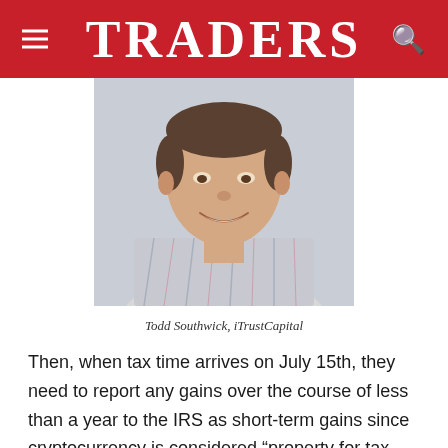TRADERS
[Figure (photo): Headshot of Todd Southwick, a man smiling, wearing a plaid shirt, light gray background]
Todd Southwick, iTrustCapital
Then, when tax time arrives on July 15th, they need to report any gains over the course of less than a year to the IRS as short-term gains since cryptocurrency is considered “property for tax purposes.” That could mean the IRS might be able to